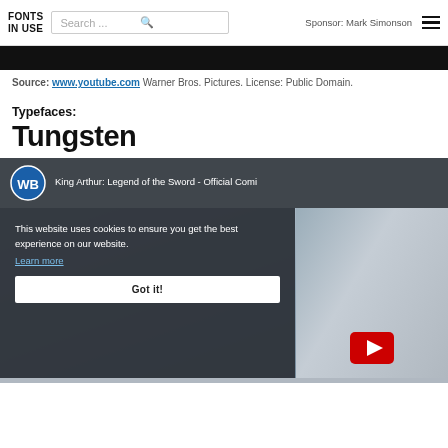FONTS IN USE | Search ... | Sponsor: Mark Simonson
[Figure (screenshot): Black bar at top of content, part of a video or image]
Source: www.youtube.com Warner Bros. Pictures. License: Public Domain.
Typefaces:
Tungsten
[Figure (screenshot): YouTube embedded video player showing 'King Arthur: Legend of the Sword - Official Comic...' with WB logo. A cookie consent overlay reads: 'This website uses cookies to ensure you get the best experience on our website. Learn more' and a 'Got it!' button. A partial arm and YouTube play button are visible on the right side.]